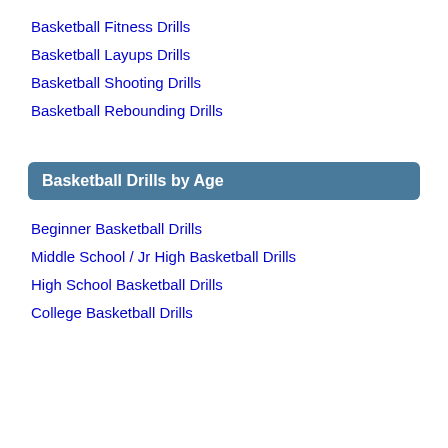Basketball Fitness Drills
Basketball Layups Drills
Basketball Shooting Drills
Basketball Rebounding Drills
Basketball Drills by Age
Beginner Basketball Drills
Middle School / Jr High Basketball Drills
High School Basketball Drills
College Basketball Drills